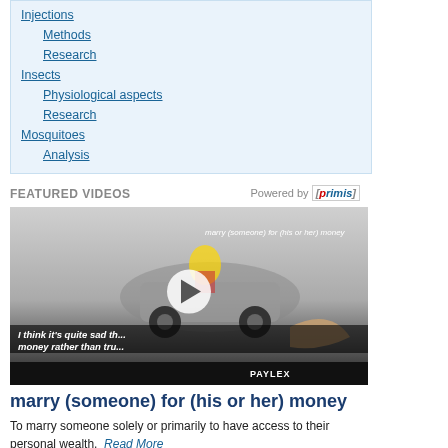Injections
Methods
Research
Insects
Physiological aspects
Research
Mosquitoes
Analysis
FEATURED VIDEOS
Powered by [primis]
[Figure (screenshot): Video thumbnail showing animated scene of a luxury car with cartoon characters, play button overlay, subtitle text 'I think it’s quite sad th... d marry for money rather than tru... ouse.']
marry (someone) for (his or her) money
To marry someone solely or primarily to have access to their personal wealth. Read More